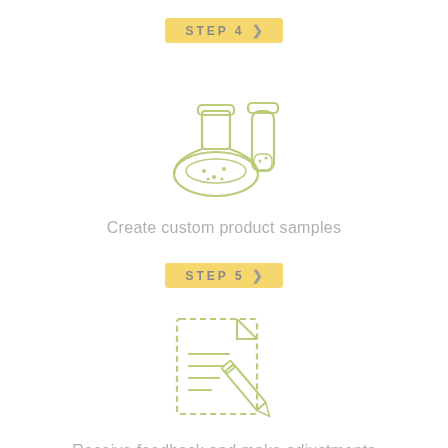[Figure (illustration): Step 4 badge with yellow background and arrow, followed by a green outline icon of a flask and test tube, representing creating custom product samples]
Create custom product samples
[Figure (illustration): Step 5 badge with yellow background and arrow, followed by a green outline icon of a document with a pen/pencil, representing receiving feedback and making adjustments]
Receive feedback and make adjustments